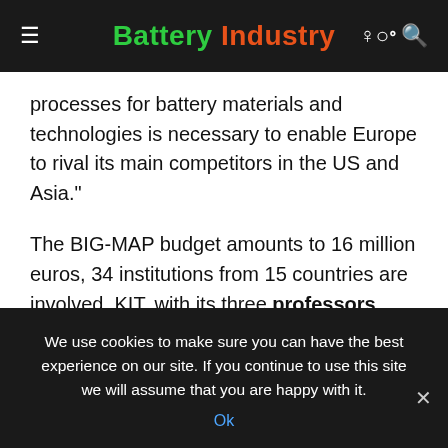Battery Industry
processes for battery materials and technologies is necessary to enable Europe to rival its main competitors in the US and Asia."
The BIG-MAP budget amounts to 16 million euros, 34 institutions from 15 countries are involved. KIT, with its three professors Maximilian Fichtner, Wolfgang Wenzel, and Helge Stein, is the second largest recipient of funds, following the coordinating Technical University of Denmark (DTU). Accordingly, the Post-Lithium Storage excellence cluster
We use cookies to make sure you can have the best experience on our site. If you continue to use this site we will assume that you are happy with it.
Ok